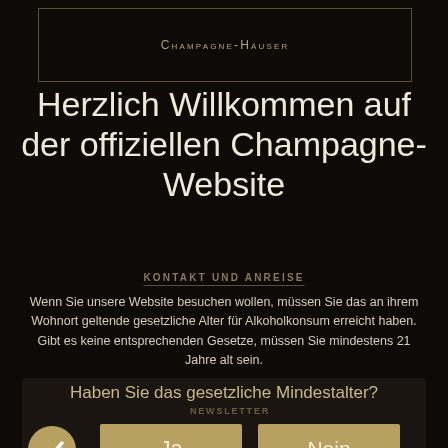Champagne-Häuser
Herzlich Willkommen auf der offiziellen Champagne-Website
KONTAKT UND ANREISE
Wenn Sie unsere Website besuchen wollen, müssen Sie das an ihrem Wohnort geltende gesetzliche Alter für Alkoholkonsum erreicht haben. Gibt es keine entsprechenden Gesetze, müssen Sie mindestens 21 Jahre alt sein.
Haben Sie das gesetzliche Mindestalter?
NEWSLETTER
Ja
Nein
Der Missbrauch von Alkohol ist gesundheitsschädlich. Mit Vorsicht geniessen.